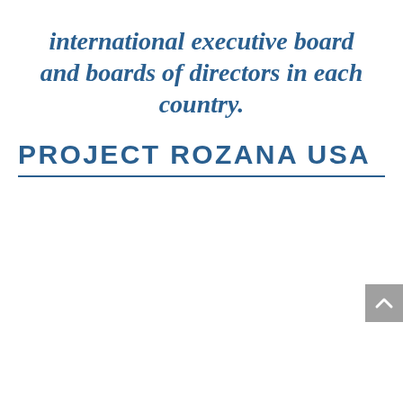international executive board and boards of directors in each country.
PROJECT ROZANA USA